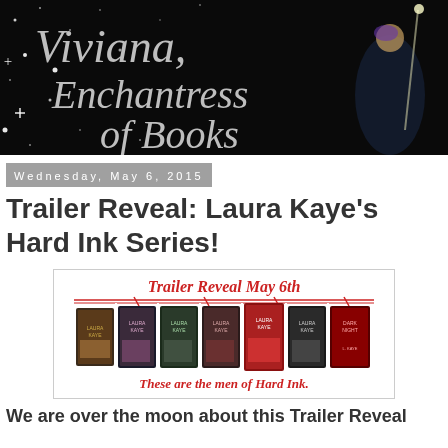[Figure (logo): Viviana, Enchantress of Books blog banner with dark starry background and fantasy illustration of a sorceress with a book]
Wednesday, May 6, 2015
Trailer Reveal: Laura Kaye’s Hard Ink Series!
[Figure (illustration): Promotional image for Trailer Reveal May 6th showing Laura Kaye Hard Ink series book covers with text 'These are the men of Hard Ink.']
We are over the moon about this Trailer Reveal